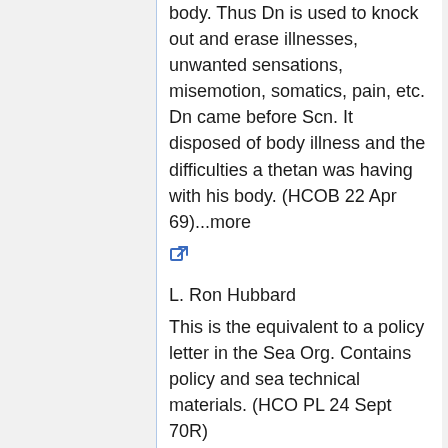body. Thus Dn is used to knock out and erase illnesses, unwanted sensations, misemotion, somatics, pain, etc. Dn came before Scn. It disposed of body illness and the difficulties a thetan was having with his body. (HCOB 22 Apr 69)...more
[Figure (other): External link icon (blue)]
L. Ron Hubbard
This is the equivalent to a policy letter in the Sea Org. Contains policy and sea technical materials. (HCO PL 24 Sept 70R)
[Figure (other): External link icon (blue)]
2. the C/S is the case supervisor. He has to be an accomplished and properly certified auditor and a person trained additionally to supervise cases...MORE
[Figure (other): External link icon (blue)]